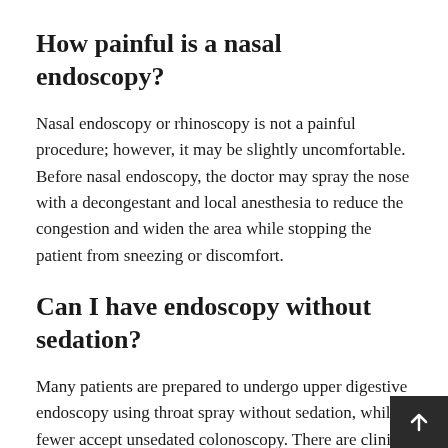How painful is a nasal endoscopy?
Nasal endoscopy or rhinoscopy is not a painful procedure; however, it may be slightly uncomfortable. Before nasal endoscopy, the doctor may spray the nose with a decongestant and local anesthesia to reduce the congestion and widen the area while stopping the patient from sneezing or discomfort.
Can I have endoscopy without sedation?
Many patients are prepared to undergo upper digestive endoscopy using throat spray without sedation, while fewer accept unsedated colonoscopy. There are clinical advantages as well as disadvantages in employing sedation and sometimes general anaesthesia is the preferred option.